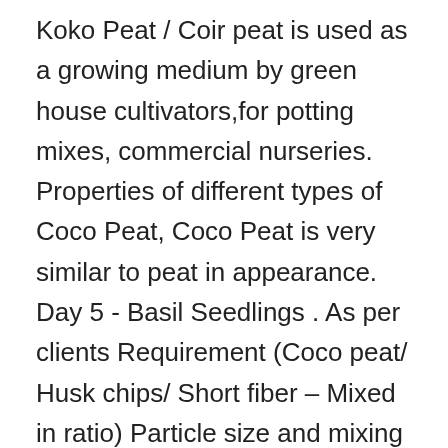Koko Peat / Coir peat is used as a growing medium by green house cultivators,for potting mixes, commercial nurseries. Properties of different types of Coco Peat, Coco Peat is very similar to peat in appearance. Day 5 - Basil Seedlings . As per clients Requirement (Coco peat/ Husk chips/ Short fiber – Mixed in ratio) Particle size and mixing ratio can be change as per the buyer's requirement. This coco peat dried in the natural sun, are processed to produce different items namely Coco peat block & coco peat briquettes. Cons of Peat Moss: Depletes peat bogs, which requires them to be re-built or sustainability harvested. Coco Peat Bricks , Find Complete Details about Coco Peat Bricks,Coco Peat Soil Ratio,Coco Peat Discs,Coco Peat Home Depot from Peat Supplier or Manufacturer-ALCO COIR AND HORTICULTURE It can also be used as a mulch around garden plants to help the